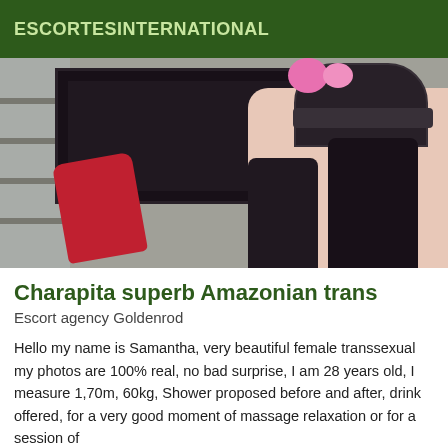ESCORTESINTERNATIONAL
[Figure (photo): Photo showing a person in black lace stockings and boots with a red object and pink flower visible]
Charapita superb Amazonian trans
Escort agency Goldenrod
Hello my name is Samantha, very beautiful female transsexual my photos are 100% real, no bad surprise, I am 28 years old, I measure 1,70m, 60kg, Shower proposed before and after, drink offered, for a very good moment of massage relaxation or for a session of